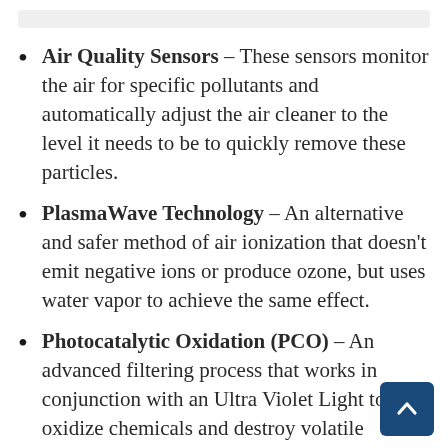Air Quality Sensors – These sensors monitor the air for specific pollutants and automatically adjust the air cleaner to the level it needs to be to quickly remove these particles.
PlasmaWave Technology – An alternative and safer method of air ionization that doesn't emit negative ions or produce ozone, but uses water vapor to achieve the same effect.
Photocatalytic Oxidation (PCO) – An advanced filtering process that works in conjunction with an Ultra Violet Light to oxidize chemicals and destroy volatile organic compounds, bacteria, mold and...